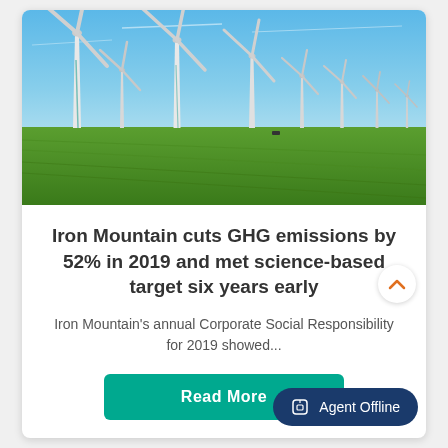[Figure (photo): Wind turbines in a large wind farm standing over a flat green agricultural field under a clear blue sky.]
Iron Mountain cuts GHG emissions by 52% in 2019 and met science-based target six years early
Iron Mountain's annual Corporate Social Responsibility for 2019 showed...
Read More
Agent Offline